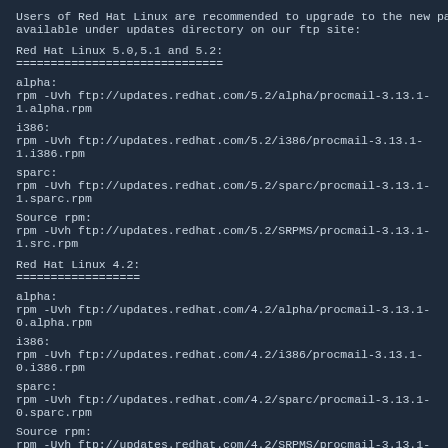Users of Red Hat Linux are recommended to upgrade to the new packages available under updates directory on our ftp site:
Red Hat Linux 5.0,5.1 and 5.2:
==============================
alpha:
rpm -Uvh ftp://updates.redhat.com/5.2/alpha/procmail-3.13.1-1.alpha.rpm
i386:
rpm -Uvh ftp://updates.redhat.com/5.2/i386/procmail-3.13.1-1.i386.rpm
sparc:
rpm -Uvh ftp://updates.redhat.com/5.2/sparc/procmail-3.13.1-1.sparc.rpm
Source rpm:
rpm -Uvh ftp://updates.redhat.com/5.2/SRPMS/procmail-3.13.1-1.src.rpm
Red Hat Linux 4.2:
==================
alpha:
rpm -Uvh ftp://updates.redhat.com/4.2/alpha/procmail-3.13.1-0.alpha.rpm
i386:
rpm -Uvh ftp://updates.redhat.com/4.2/i386/procmail-3.13.1-0.i386.rpm
sparc:
rpm -Uvh ftp://updates.redhat.com/4.2/sparc/procmail-3.13.1-0.sparc.rpm
Source rpm:
rpm -Uvh ftp://updates.redhat.com/4.2/SRPMS/procmail-3.13.1-0.src.rpm